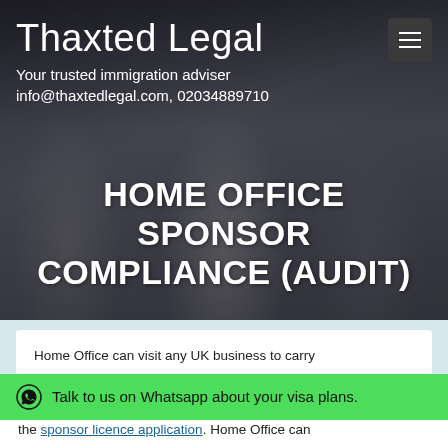Thaxted Legal
Your trusted immigration adviser
info@thaxtedlegal.com, 02034889710
[Figure (photo): Background photo of business professionals in suits standing together in an office setting]
HOME OFFICE SPONSOR COMPLIANCE (AUDIT)
Home Office can visit any UK business to carry...
Talk to us on Whatsapp about your visa plans.
the sponsor licence application. Home Office can